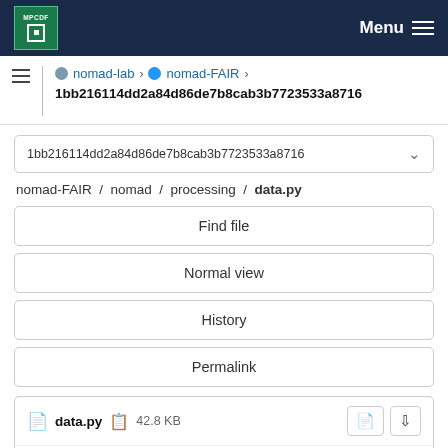MPCDF Menu
nomad-lab > nomad-FAIR > 1bb216114dd2a84d86de7b8cab3b7723533a8716
1bb216114dd2a84d86de7b8cab3b7723533a8716
nomad-FAIR / nomad / processing / data.py
Find file
Normal view
History
Permalink
data.py  42.8 KB
Newer  Older